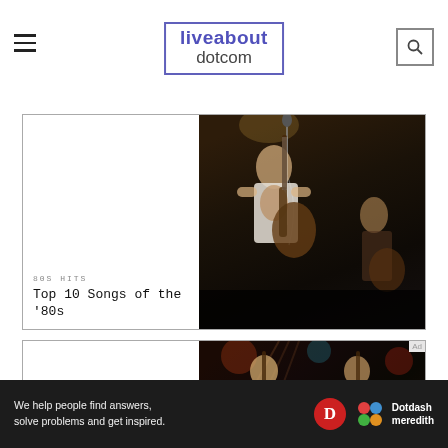liveabout dotcom
[Figure (photo): Concert photo of a guitarist performing on stage in a white shirt with graphic print, playing guitar against a dark background]
80S HITS
Top 10 Songs of the '80s
[Figure (photo): Concert photo of two musicians performing on stage, one in a yellow shirt playing guitar, one in dark clothing, with colorful stage lights in background]
We help people find answers, solve problems and get inspired.